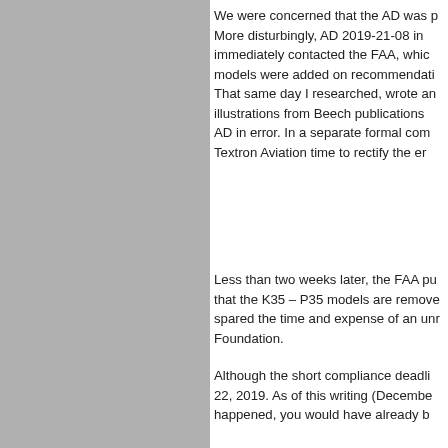[Figure (other): Gray filled rectangle occupying the left portion of the page]
We were concerned that the AD was p More disturbingly, AD 2019-21-08 in immediately contacted the FAA, whic models were added on recommendati That same day I researched, wrote an illustrations from Beech publications AD in error. In a separate formal com Textron Aviation time to rectify the er
Less than two weeks later, the FAA pu that the K35 – P35 models are remove spared the time and expense of an unr Foundation.
Although the short compliance deadli 22, 2019. As of this writing (Decembe happened, you would have already b